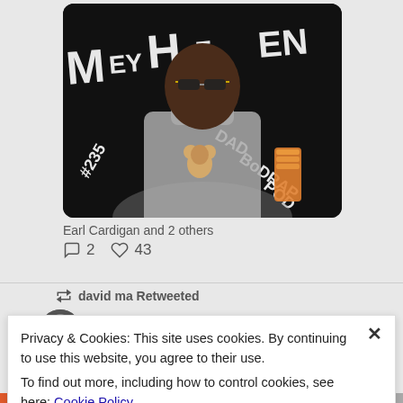[Figure (screenshot): Screenshot of a Twitter/social media feed showing a podcast thumbnail image (MeyHeven Dad BoDRap Pod #235) with a man in a grey turtleneck sweater with a teddy bear graphic, wearing sunglasses, on a black background with stylized text.]
Earl Cardigan and 2 others
2   43
david ma Retweeted
stony islan...  @StonylsI...  · Aug 31
Privacy & Cookies: This site uses cookies. By continuing to use this website, you agree to their use.
To find out more, including how to control cookies, see here: Cookie Policy
Close and accept